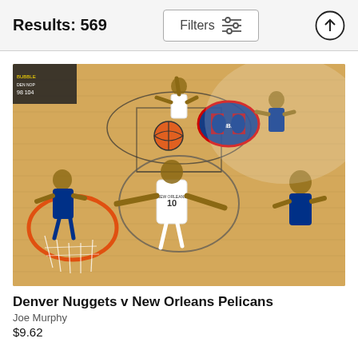Results: 569
[Figure (photo): Basketball game photo: Denver Nuggets vs New Orleans Pelicans. Overhead/court-level view showing a New Orleans Pelicans player #10 reaching up near the basket/hoop, with other players visible on an NBA court with hardwood floor and NBA logo at center court.]
Denver Nuggets v New Orleans Pelicans
Joe Murphy
$9.62